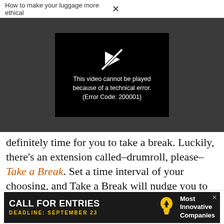How to make your luggage more ethical ×
[Figure (screenshot): Video player showing error message: This video cannot be played because of a technical error. (Error Code: 200001)]
definitely time for you to take a break. Luckily, there's an extension called–drumroll, please–Take a Break. Set a time interval of your choosing, and Take a Break will nudge you to get up and walk around a bit. You can choose to be notified via a new tab, a desktop
[Figure (screenshot): Advertisement banner: CALL FOR ENTRIES DEADLINE: SEPTEMBER 23 with lightbulb icon and text Most Innovative Companies]